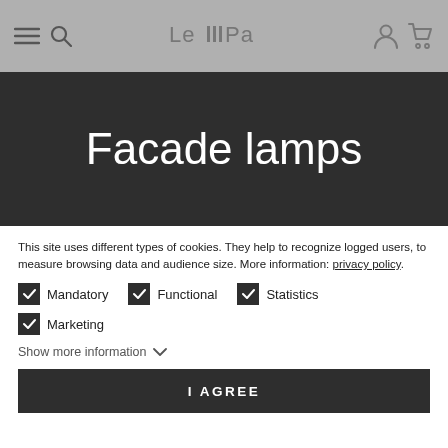LeMPa navigation bar
Facade lamps
This site uses different types of cookies. They help to recognize logged users, to measure browsing data and audience size. More information: privacy policy.
Mandatory (checked), Functional (checked), Statistics (checked)
Marketing (checked)
Show more information
I AGREE